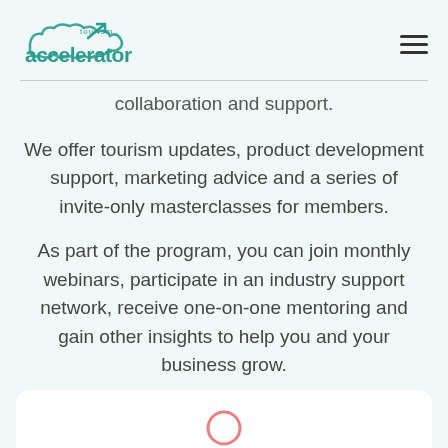[Figure (logo): Tourism Accelerator logo with teal text and upward arrow]
collaboration and support.
We offer tourism updates, product development support, marketing advice and a series of invite-only masterclasses for members.
As part of the program, you can join monthly webinars, participate in an industry support network, receive one-on-one mentoring and gain other insights to help you and your business grow.
[Figure (illustration): Pink outline person/user icon at the bottom of the page]